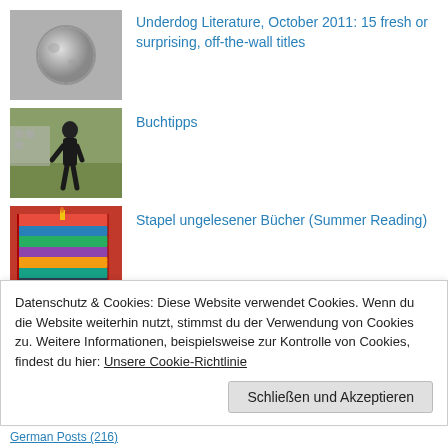[Figure (photo): Grayscale photo of a moon or spherical object against a grey background]
Underdog Literature, October 2011: 15 fresh or surprising, off-the-wall titles
[Figure (photo): Photo of a person walking on grass, wearing dark clothing]
Buchtipps
[Figure (photo): Photo of a stack of colorful books]
Stapel ungelesener Bücher (Summer Reading)
Datenschutz & Cookies: Diese Website verwendet Cookies. Wenn du die Website weiterhin nutzt, stimmst du der Verwendung von Cookies zu. Weitere Informationen, beispielsweise zur Kontrolle von Cookies, findest du hier: Unsere Cookie-Richtlinie
Schließen und Akzeptieren
German Posts (216)